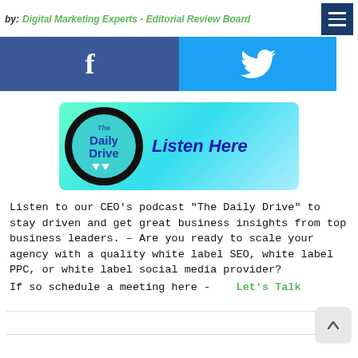by: Digital Marketing Experts - Editorial Review Board
[Figure (illustration): Facebook and Twitter social sharing buttons bar - Facebook button in dark blue with 'f' icon, Twitter button in cyan/light blue with bird icon]
[Figure (illustration): The Daily Drive podcast banner with green gradient background, circular logo with 'The Daily Drive' text, and 'Listen Here' text in bold italic dark blue]
Listen to our CEO’s podcast “The Daily Drive” to stay driven and get great business insights from top business leaders. – Are you ready to scale your agency with a quality white label SEO, white label PPC, or white label social media provider?
If so schedule a meeting here -    Let’s Talk